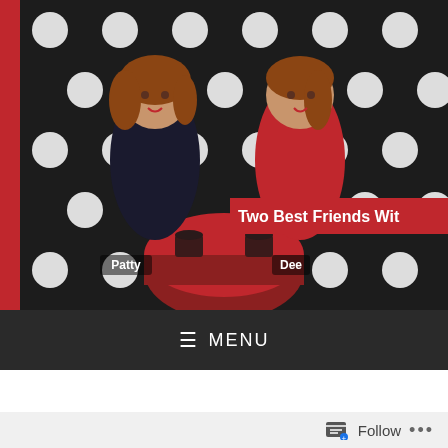[Figure (illustration): Blog header banner showing two illustrated cartoon women (Patty and Dee) sitting at a table with coffee cups, against a black polka dot background. Left side has a red vertical strip. A red ribbon reads 'Two Best Friends Wit' (partially visible). Characters are labeled 'Patty' and 'Dee'.]
≡  MENU
LIVE – TWISTED MARRIAGE (FILTHY VOWS, #2) BY ALESSANDRA TORRE
Follow  •••